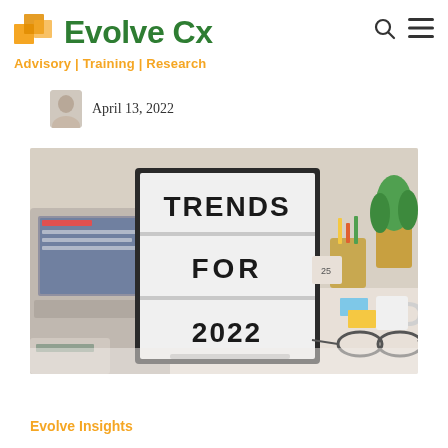[Figure (logo): Evolve Cx logo with orange geometric shapes icon and green text reading 'Evolve Cx', with orange tagline 'Advisory | Training | Research']
April 13, 2022
[Figure (photo): Office desk scene with a lightbox sign reading 'TRENDS FOR 2022', laptop, glasses, stationery, and a green plant in the background]
Evolve Insights